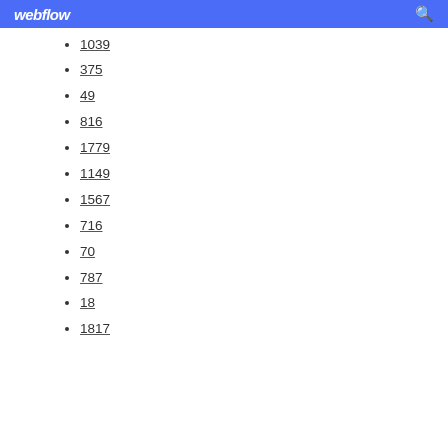webflow
1039
375
49
816
1779
1149
1567
716
70
787
18
1817